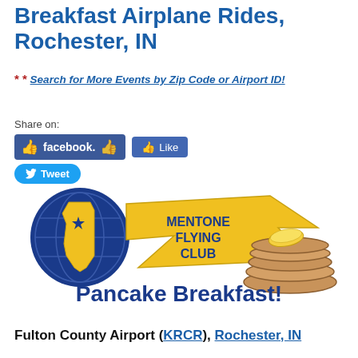Breakfast Airplane Rides, Rochester, IN
* * Search for More Events by Zip Code or Airport ID!
Share on:
[Figure (logo): Mentone Flying Club logo with Indiana state shape, wing, and stack of pancakes with butter, and text 'Pancake Breakfast!']
Fulton County Airport (KRCR), Rochester, IN